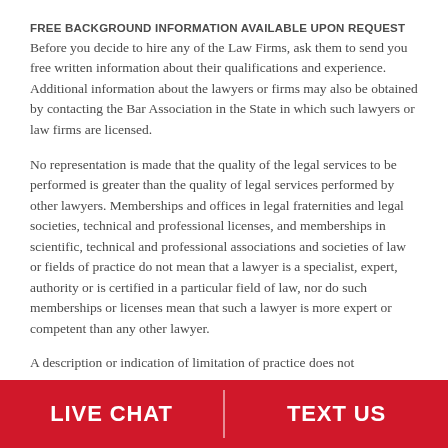FREE BACKGROUND INFORMATION AVAILABLE UPON REQUEST
Before you decide to hire any of the Law Firms, ask them to send you free written information about their qualifications and experience. Additional information about the lawyers or firms may also be obtained by contacting the Bar Association in the State in which such lawyers or law firms are licensed.
No representation is made that the quality of the legal services to be performed is greater than the quality of legal services performed by other lawyers. Memberships and offices in legal fraternities and legal societies, technical and professional licenses, and memberships in scientific, technical and professional associations and societies of law or fields of practice do not mean that a lawyer is a specialist, expert, authority or is certified in a particular field of law, nor do such memberships or licenses mean that such a lawyer is more expert or competent than any other lawyer.
A description or indication of limitation of practice does not
LIVE CHAT   TEXT US